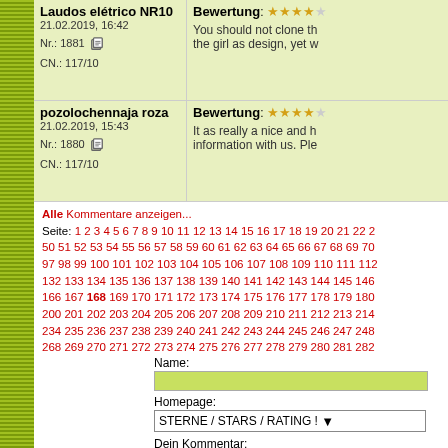Laudos elétrico NR10 — 21.02.2019, 16:42 — Nr.: 1881 — CN.: 117/10
Bewertung: ★★★★☆ — You should not clone the girl as design, yet w…
pozolochennaja roza — 21.02.2019, 15:43 — Nr.: 1880 — CN.: 117/10
Bewertung: ★★★★☆ — It as really a nice and helpful information with us. Ple…
Alle Kommentare anzeigen... Seite: 1 2 3 4 5 6 7 8 9 10 11 12 13 14 15 16 17 18 19 20 21 22 2… 50 51 52 53 54 55 56 57 58 59 60 61 62 63 64 65 66 67 68 69 70… 97 98 99 100 101 102 103 104 105 106 107 108 109 110 111 112… 132 133 134 135 136 137 138 139 140 141 142 143 144 145 146… 166 167 168 169 170 171 172 173 174 175 176 177 178 179 180… 200 201 202 203 204 205 206 207 208 209 210 211 212 213 214… 234 235 236 237 238 239 240 241 242 243 244 245 246 247 248… 268 269 270 271 272 273 274 275 276 277 278 279 280 281 282… 302 303 304 305 306 307 308 309 310 311 312 313 314 315 316…
Name:
Homepage:
STERNE / STARS / RATING !
Dein Kommentar:
Sterne vergeben nicht vergessen !